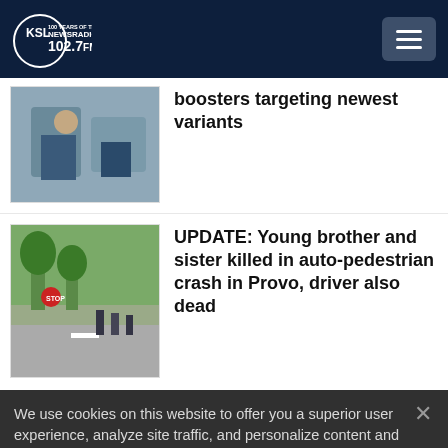KSL NewsRadio 102.7 FM
boosters targeting newest variants
UPDATE: Young brother and sister killed in auto-pedestrian crash in Provo, driver also dead
We use cookies on this website to offer you a superior user experience, analyze site traffic, and personalize content and advertisements. By continuing to use our site, you consent to our use of cookies. Please visit our Privacy Policy for more information.
Accept Cookies